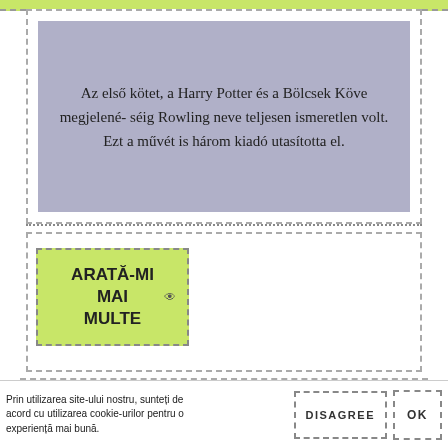Az első kötet, a Harry Potter és a Bölcsek Köve megjelené- séig Rowling neve teljesen ismeretlen volt. Ezt a művét is három kiadó utasította el.
ARATĂ-MI MAI MULTE
DIADEM CUP HARRY POTTER
Originally Owned By: Helga Hufflepuff. First Seen In: Harry Potter and the. Deathly Hallows – Part 1. Destroyed By: Hermione Granger
Prin utilizarea site-ului nostru, sunteți de acord cu utilizarea cookie-urilor pentru o experiență mai bună.